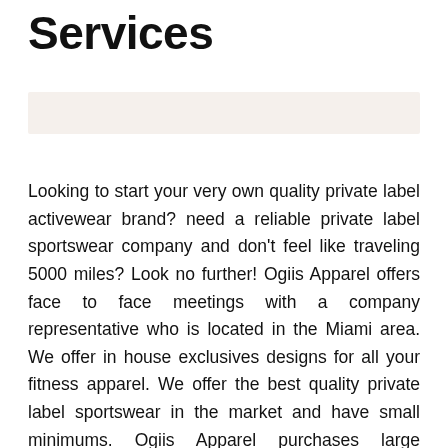Services
[Figure (other): Light beige/tan horizontal banner or header bar]
Looking to start your very own quality private label activewear brand? need a reliable private label sportswear company and don't feel like traveling 5000 miles? Look no further! Ogiis Apparel offers face to face meetings with a company representative who is located in the Miami area. We offer in house exclusives designs for all your fitness apparel. We offer the best quality private label sportswear in the market and have small minimums. Ogiis Apparel purchases large amounts of quality textiles and smart fabrics on a yearly basis. This allows us to be very competitive in price and quality. Feel free to check out our